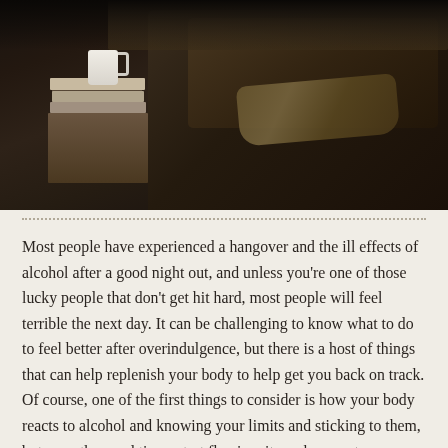[Figure (photo): Dark moody photograph of a person reclining on a dark leather sofa, with a stack of books and a white mug on a wooden side table to the left, dimly lit]
Most people have experienced a hangover and the ill effects of alcohol after a good night out, and unless you're one of those lucky people that don't get hit hard, most people will feel terrible the next day. It can be challenging to know what to do to feel better after overindulgence, but there is a host of things that can help replenish your body to help get you back on track. Of course, one of the first things to consider is how your body reacts to alcohol and knowing your limits and sticking to them, but once the good times start flowing, it can be easy to go overboard which